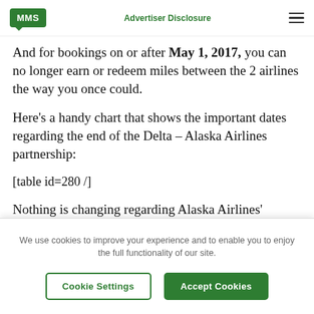MMS | Advertiser Disclosure
And for bookings on or after May 1, 2017, you can no longer earn or redeem miles between the 2 airlines the way you once could.
Here's a handy chart that shows the important dates regarding the end of the Delta – Alaska Airlines partnership:
[table id=280 /]
Nothing is changing regarding Alaska Airlines'
We use cookies to improve your experience and to enable you to enjoy the full functionality of our site.
Cookie Settings | Accept Cookies